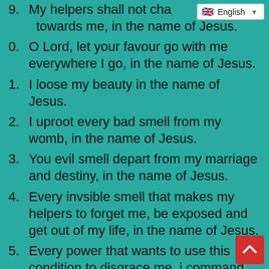9. My helpers shall not change towards me, in the name of Jesus.
0. O Lord, let your favour go with me everywhere I go, in the name of Jesus.
1. I loose my beauty in the name of Jesus.
2. I uproot every bad smell from my womb, in the name of Jesus.
3. You evil smell depart from my marriage and destiny, in the name of Jesus.
4. Every invsible smell that makes my helpers to forget me, be exposed and get out of my life, in the name of Jesus.
5. Every power that wants to use this condition to disgrace me, i command your life to scatter by fire, in Jesus name